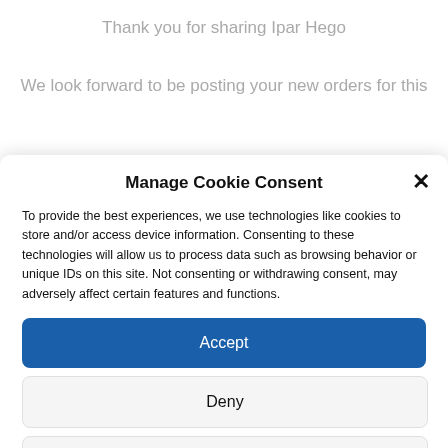Thank you for sharing Ipar Hego
We look forward to be posting your new orders for this
Manage Cookie Consent
To provide the best experiences, we use technologies like cookies to store and/or access device information. Consenting to these technologies will allow us to process data such as browsing behavior or unique IDs on this site. Not consenting or withdrawing consent, may adversely affect certain features and functions.
Accept
Deny
View preferences
Cookies Policy   Private Policy